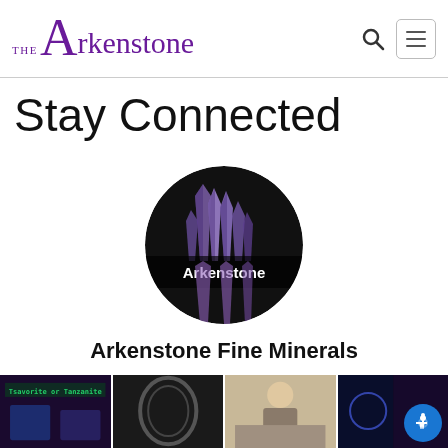THE Arkenstone
Stay Connected
[Figure (logo): Circular logo showing purple amethyst crystals on dark background with 'Arkenstone' text overlaid in white]
Arkenstone Fine Minerals
[Figure (photo): Strip of four thumbnail images showing mineral specimens and people at a mineral show]